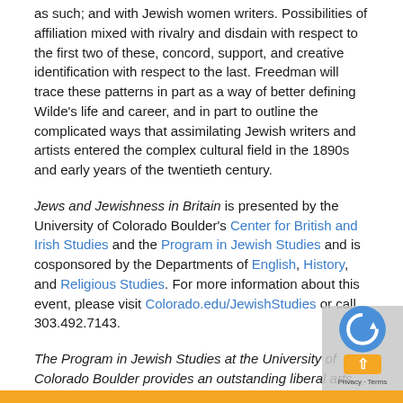as such; and with Jewish women writers. Possibilities of affiliation mixed with rivalry and disdain with respect to the first two of these, concord, support, and creative identification with respect to the last. Freedman will trace these patterns in part as a way of better defining Wilde's life and career, and in part to outline the complicated ways that assimilating Jewish writers and artists entered the complex cultural field in the 1890s and early years of the twentieth century.
Jews and Jewishness in Britain is presented by the University of Colorado Boulder's Center for British and Irish Studies and the Program in Jewish Studies and is cosponsored by the Departments of English, History, and Religious Studies. For more information about this event, please visit Colorado.edu/JewishStudies or call 303.492.7143.
The Program in Jewish Studies at the University of Colorado Boulder provides an outstanding liberal arts education, fosters critical thought and instills an appreciation of humanity's interrelatedness and diversity by studying one of the world's